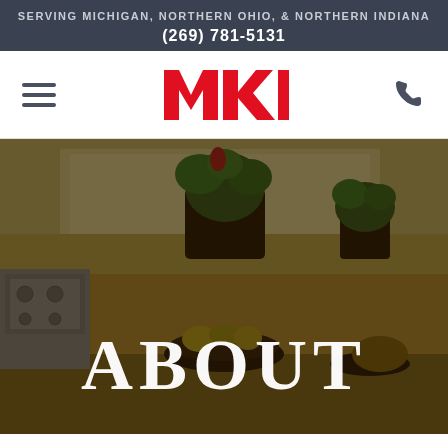SERVING MICHIGAN, NORTHERN OHIO, & NORTHERN INDIANA
(269) 781-5131
[Figure (logo): MKD logo in red bold letters on white navigation bar, with hamburger menu icon on left and phone icon on right]
[Figure (photo): Kitchen interior with granite countertop, dark bowl of fruit, potted plants, stainless steel appliances, dimmed with dark overlay. Large white serif text 'ABOUT' overlaid at bottom center.]
ABOUT